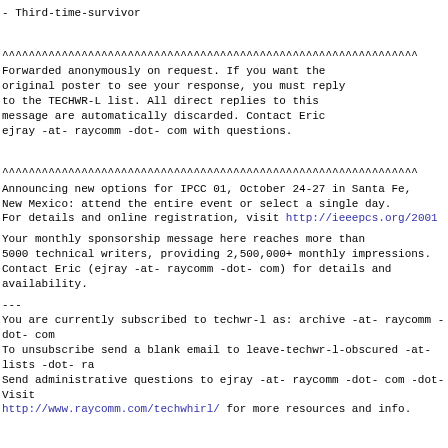- Third-time-survivor
^^^^^^^^^^^^^^^^^^^^^^^^^^^^^^^^^^^^^^^^^^^^^^^^^^^^^^^^^^^^^^^
Forwarded anonymously on request. If you want the original poster to see your response, you must reply to the TECHWR-L list. All direct replies to this message are automatically discarded. Contact Eric ejray -at- raycomm -dot- com with questions.
^^^^^^^^^^^^^^^^^^^^^^^^^^^^^^^^^^^^^^^^^^^^^^^^^^^^^^^^^^^^^^^
Announcing new options for IPCC 01, October 24-27 in Santa Fe, New Mexico: attend the entire event or select a single day. For details and online registration, visit http://ieeepcs.org/2001
Your monthly sponsorship message here reaches more than 5000 technical writers, providing 2,500,000+ monthly impressions. Contact Eric (ejray -at- raycomm -dot- com) for details and availability.
---
You are currently subscribed to techwr-l as: archive -at- raycomm -dot- com
To unsubscribe send a blank email to leave-techwr-l-obscured -at- lists -dot- ra
Send administrative questions to ejray -at- raycomm -dot- com -dot- Visit http://www.raycomm.com/techwhirl/ for more resources and info.